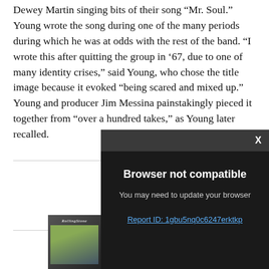Dewey Martin singing bits of their song “Mr. Soul.” Young wrote the song during one of the many periods during which he was at odds with the rest of the band. “I wrote this after quitting the group in ’67, due to one of many identity crises,” said Young, who chose the title image because it evoked “being scared and mixed up.” Young and producer Jim Messina painstakingly pieced it together from “over a hundred takes,” as Young later recalled.
[Figure (screenshot): Browser not compatible modal overlay on dark background with X close button. Text reads: 'Browser not compatible', 'You may need to update your browser', and a link 'Report ID: 1gbu5nq0c6247erktkp']
[Figure (screenshot): Rolling Stone magazine advertisement banner showing a magazine cover image on the left and the Rolling Stone logo in white text on a red background.]